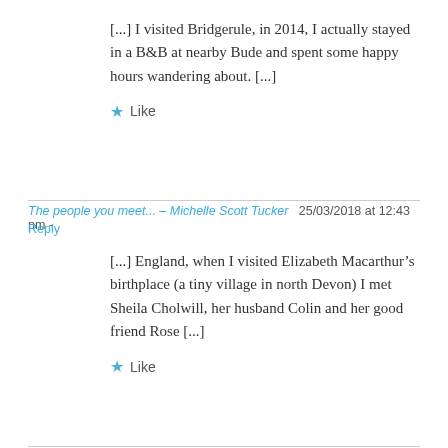[...] I visited Bridgerule, in 2014, I actually stayed in a B&B at nearby Bude and spent some happy hours wandering about. [...]
★ Like
The people you meet... – Michelle Scott Tucker  25/03/2018 at 12:43 pm -
Reply
[...] England, when I visited Elizabeth Macarthur's birthplace (a tiny village in north Devon) I met Sheila Cholwill, her husband Colin and her good friend Rose [...]
★ Like